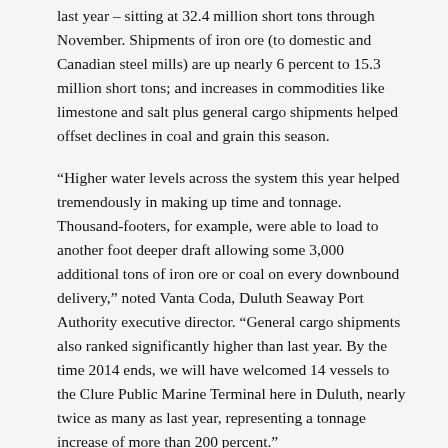last year – sitting at 32.4 million short tons through November. Shipments of iron ore (to domestic and Canadian steel mills) are up nearly 6 percent to 15.3 million short tons; and increases in commodities like limestone and salt plus general cargo shipments helped offset declines in coal and grain this season.
“Higher water levels across the system this year helped tremendously in making up time and tonnage. Thousand-footers, for example, were able to load to another foot deeper draft allowing some 3,000 additional tons of iron ore or coal on every downbound delivery,” noted Vanta Coda, Duluth Seaway Port Authority executive director. “General cargo shipments also ranked significantly higher than last year. By the time 2014 ends, we will have welcomed 14 vessels to the Clure Public Marine Terminal here in Duluth, nearly twice as many as last year, representing a tonnage increase of more than 200 percent.”
Although ice has already formed on Lake Superior and elsewhere in the system, shipping has not been significantly impacted so far this winter. Freighters continue their end-of-season push to deliver iron ore to mills on the Lower Lakes to